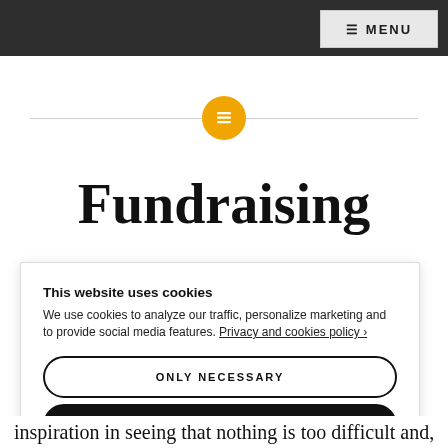≡ MENU
[Figure (logo): Golden circle icon with document/list symbol, centered between two horizontal divider lines]
Fundraising
This website uses cookies
We use cookies to analyze our traffic, personalize marketing and to provide social media features. Privacy and cookies policy ›
ONLY NECESSARY
ALLOW ALL COOKIES
CONFIGURE SETTINGS ›
inspiration in seeing that nothing is too difficult and,